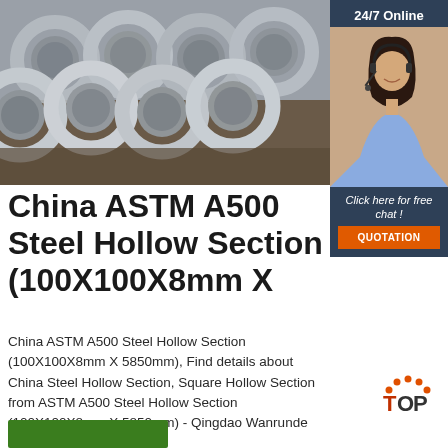[Figure (photo): Stacked steel hollow section pipes viewed from the end, showing circular cross-sections, with industrial workshop background]
[Figure (photo): 24/7 Online customer service sidebar with woman wearing headset, dark blue background, orange QUOTATION button and 'Click here for free chat!' text]
China ASTM A500 Steel Hollow Section (100X100X8mm X
China ASTM A500 Steel Hollow Section (100X100X8mm X 5850mm), Find details about China Steel Hollow Section, Square Hollow Section from ASTM A500 Steel Hollow Section (100X100X8mm X 5850mm) - Qingdao Wanrunde Imp and Exp Co., Ltd.